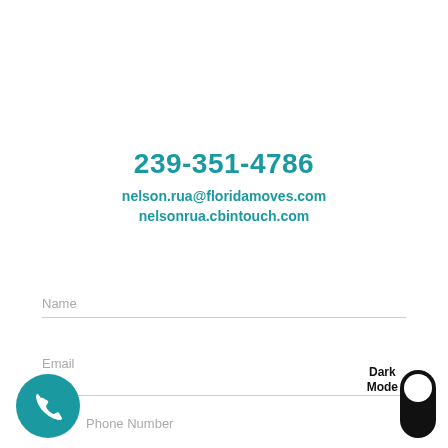239-351-4786
nelson.rua@floridamoves.com
nelsonrua.cbintouch.com
Name
Email
Phone Number
[Figure (illustration): Teal circular button with white phone/handset icon]
Dark Mode
[Figure (illustration): Dark mode toggle pill switch (black pill, white knob at top)]